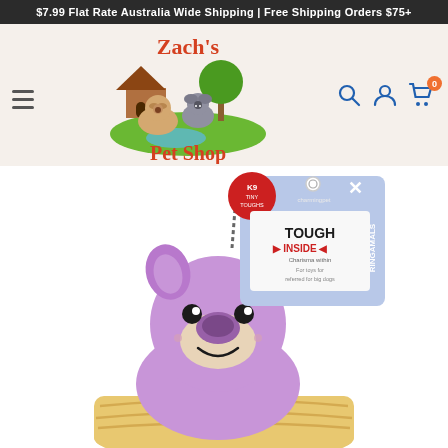$7.99 Flat Rate Australia Wide Shipping | Free Shipping Orders $75+
[Figure (logo): Zach's Pet Shop logo with cartoon pug and koala animals near a house and pond]
[Figure (photo): Purple plush koala dog toy (Ringamals) with K9 Tiny Toughs packaging tag showing 'TOUGH INSIDE' text, sitting in a light-colored rope basket]